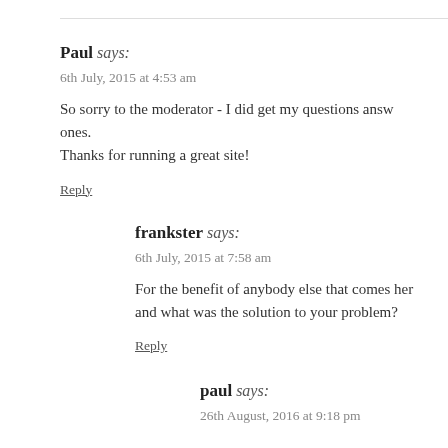Paul says:
6th July, 2015 at 4:53 am
So sorry to the moderator - I did get my questions answered, but not my most important ones.
Thanks for running a great site!
Reply
frankster says:
6th July, 2015 at 7:58 am
For the benefit of anybody else that comes here, what was your problem and what was the solution to your problem?
Reply
paul says:
26th August, 2016 at 9:18 pm